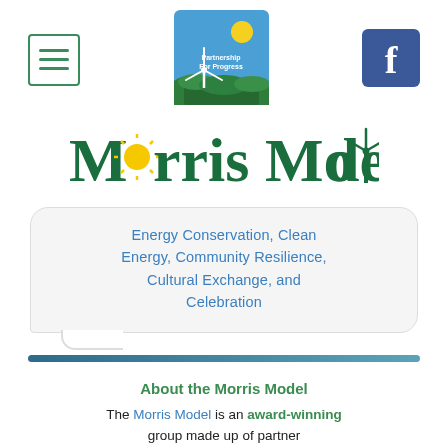[Figure (logo): Hamburger menu icon - three horizontal green lines in a green-bordered square]
[Figure (logo): Partnership For Progress logo - blue square with wind turbine, sun, and green hills]
[Figure (logo): Facebook logo - blue square with white 'f']
Morris Model
Energy Conservation, Clean Energy, Community Resilience, Cultural Exchange, and Celebration
About the Morris Model
The Morris Model is an award-winning group made up of partner